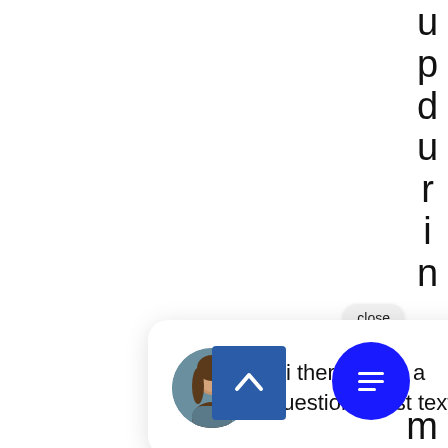[Figure (screenshot): Vertical text spelling 'upduring' stacked letter by letter on the right edge of the page]
close
[Figure (screenshot): Chat widget popup card with avatar photo of a woman and message 'Hi there, have a question? Just text us!']
Hi there, have a question? Just text us!
[Figure (screenshot): Blue circular chat FAB button with message lines icon]
[Figure (screenshot): Blue square scroll-to-top button with upward chevron arrow]
m